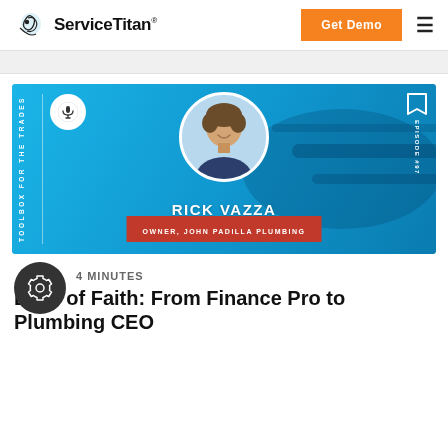ServiceTitan | Get Demo
[Figure (illustration): Podcast episode card for Toolbox for the Trades, featuring Rick Vazza, Owner of John Padilla Plumbing — blue background with circular portrait photo, podcast microphone icon, bookmark icon with EPISODE #97 text, and red title bar.]
4 MINUTES
Leap of Faith: From Finance Pro to Plumbing CEO